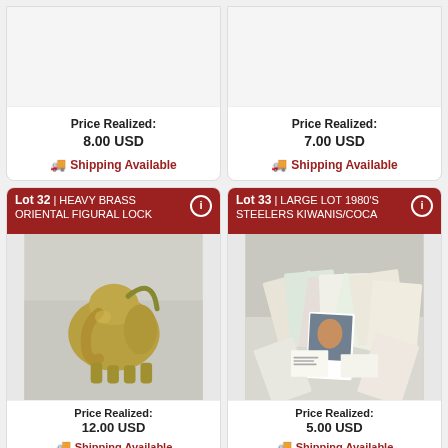Price Realized: 8.00 USD — Shipping Available
Price Realized: 7.00 USD — Shipping Available
[Figure (photo): Heavy brass oriental figural lock shaped like an elephant/figure]
Lot 32 | HEAVY BRASS ORIENTAL FIGURAL LOCK — Price Realized: 12.00 USD — Shipping Available
[Figure (photo): Large lot of 1980s Steelers Kiwanis/Coca Cola trading cards piled together]
Lot 33 | LARGE LOT 1980'S STEELERS KIWANIS/COCA — Price Realized: 5.00 USD — Shipping Available